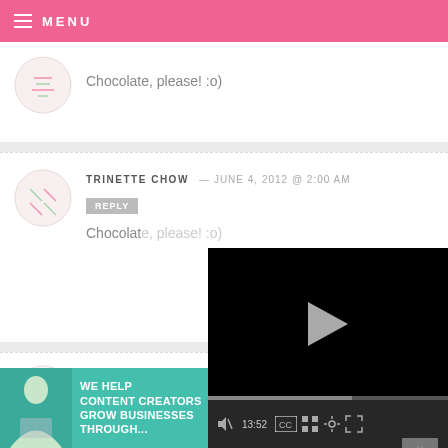MENU
Chocolate, please! :o)
TRINETTE CHOW — JUNE 4, 2012 @ 2:00 AM
REPLY
Chocolat...
DJ HEBRA...
Chocolat...
[Figure (screenshot): Video player overlay with play button, progress bar at 13:52, and media controls including mute, CC, grid, settings, and fullscreen icons]
[Figure (infographic): SHE Partner Network advertisement banner: 'We help content creators grow businesses through...' with Learn More button]